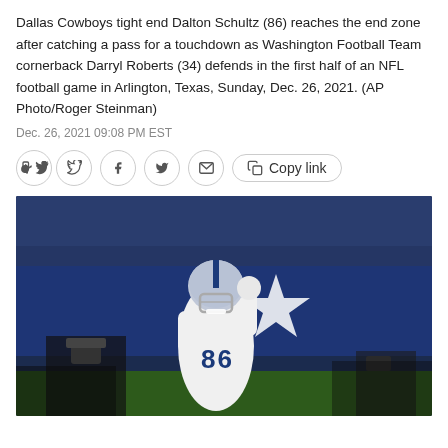Dallas Cowboys tight end Dalton Schultz (86) reaches the end zone after catching a pass for a touchdown as Washington Football Team cornerback Darryl Roberts (34) defends in the first half of an NFL football game in Arlington, Texas, Sunday, Dec. 26, 2021. (AP Photo/Roger Steinman)
Dec. 26, 2021 09:08 PM EST
[Figure (photo): Dallas Cowboys tight end Dalton Schultz (#86) in white uniform with blue accents, raising his fist in celebration in the end zone. Dallas Cowboys star logo visible in background. Photographers visible on sideline.]